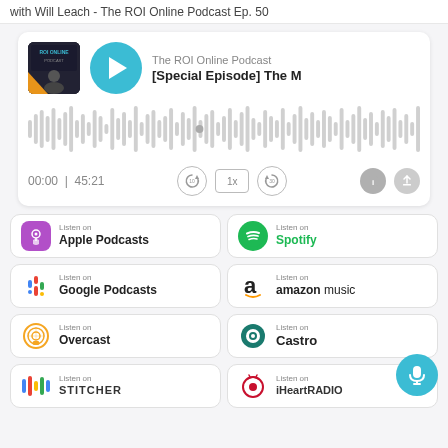with Will Leach - The ROI Online Podcast Ep. 50
[Figure (screenshot): Podcast player card showing The ROI Online Podcast episode '[Special Episode] The M...' with thumbnail, play button, waveform, time 00:00 | 45:21, and playback controls]
[Figure (infographic): Grid of podcast platform buttons: Listen on Apple Podcasts, Listen on Spotify, Listen on Google Podcasts, Listen on amazon music, Listen on Overcast, Listen on Castro, Listen on STITCHER, Listen on iHeartRADIO]